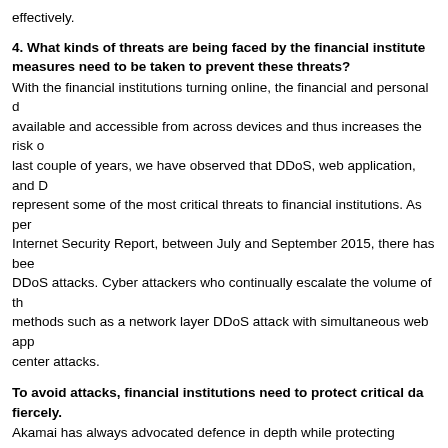effectively.
4. What kinds of threats are being faced by the financial institute measures need to be taken to prevent these threats?
With the financial institutions turning online, the financial and personal data available and accessible from across devices and thus increases the risk of last couple of years, we have observed that DDoS, web application, and DNS represent some of the most critical threats to financial institutions. As per Internet Security Report, between July and September 2015, there has been DDoS attacks. Cyber attackers who continually escalate the volume of the methods such as a network layer DDoS attack with simultaneous web app center attacks.
To avoid attacks, financial institutions need to protect critical data fiercely.
Akamai has always advocated defence in depth while protecting businesses approach provides scale against fairly large attacks and protects businesses reach the data center. Cloud based solutions, such as those from Akamai scale, provide availability and do not impact the performance of critical applications. Further, Akamai is able to provide valuable insights to its cu protect its customers, a change in paradigm from reactive defence posture to achieving this solution.